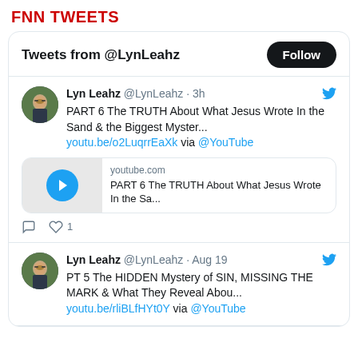FNN TWEETS
Tweets from @LynLeahz
Lyn Leahz @LynLeahz · 3h
PART 6 The TRUTH About What Jesus Wrote In the Sand & the Biggest Myster...
youtu.be/o2LuqrrEaXk via @YouTube
[Figure (screenshot): YouTube video thumbnail card with play button, showing youtube.com domain and title: PART 6 The TRUTH About What Jesus Wrote In the Sa...]
Lyn Leahz @LynLeahz · Aug 19
PT 5 The HIDDEN Mystery of SIN, MISSING THE MARK & What They Reveal Abou...
youtu.be/rliBLfHYt0Y via @YouTube